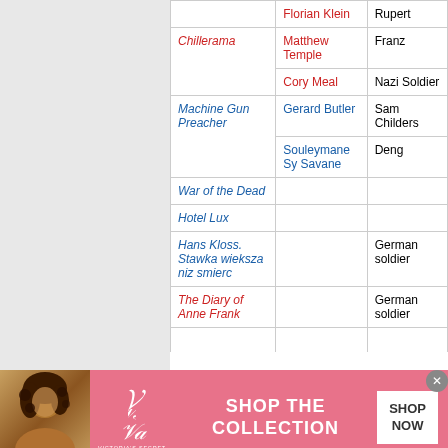| Film | Actor | Role |
| --- | --- | --- |
| Chillerama | Florian Klein | Rupert |
| Chillerama | Matthew Temple | Franz |
| Chillerama | Cory Meal | Nazi Soldier |
| Machine Gun Preacher | Gerard Butler | Sam Childers |
| Machine Gun Preacher | Souleymane Sy Savane | Deng |
| War of the Dead |  |  |
| Hotel Lux |  |  |
| Hans Kloss. Stawka wieksza niz smierc |  | German soldier |
| The Diary of Anne Frank |  | German soldier |
[Figure (advertisement): Victoria's Secret advertisement banner with pink background, model photo on left, VS logo, 'SHOP THE COLLECTION' text and 'SHOP NOW' button]